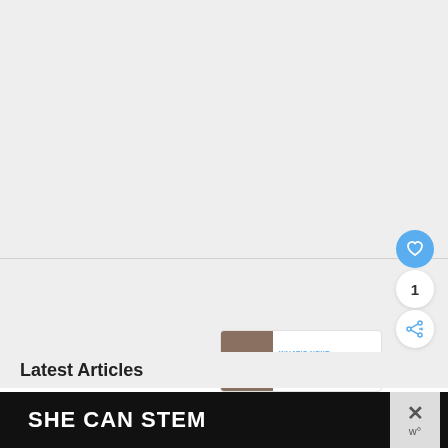[Figure (screenshot): Large light gray empty content area occupying the top portion of the page]
[Figure (illustration): Blue circular heart/like button with white heart icon]
1
[Figure (illustration): White circular share button with share icon]
[Figure (other): What's Next card showing thumbnail and text 'All About Barcelona...']
Latest Articles
[Figure (other): Dark advertisement banner with text 'SHE CAN STEM' and a close button with X icon]